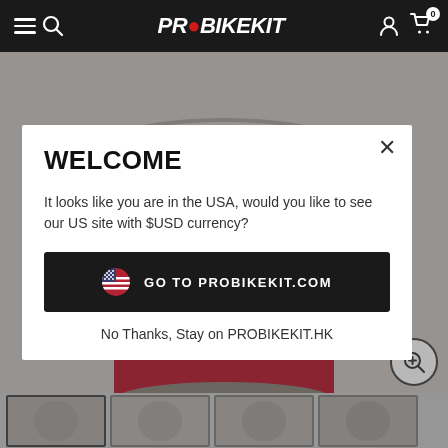PROBIKEKIT
[Figure (photo): Product photo of a large supplement/nutrition powder container (silver/gold/red label), partially visible behind the modal dialog, on a gray background]
WELCOME
It looks like you are in the USA, would you like to see our US site with $USD currency?
GO TO PROBIKEKIT.COM
No Thanks, Stay on PROBIKEKIT.HK
[Figure (photo): Row of four product thumbnail images at the bottom of the page, showing the supplement container from various angles]